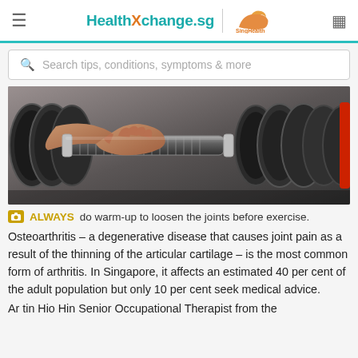HealthXchange.sg | SingHealth
[Figure (screenshot): Search bar with placeholder text: Search tips, conditions, symptoms & more]
[Figure (photo): Close-up photo of a person's hand gripping a dumbbell from a rack of dumbbells in a gym setting]
ALWAYS do warm-up to loosen the joints before exercise.
Osteoarthritis – a degenerative disease that causes joint pain as a result of the thinning of the articular cartilage – is the most common form of arthritis. In Singapore, it affects an estimated 40 per cent of the adult population but only 10 per cent seek medical advice.
Ar tin Hio Hin Senior Occupational Therapist from the